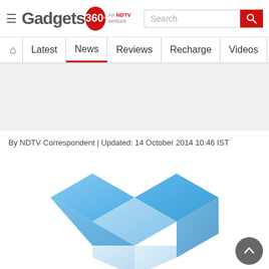Gadgets 360 - An NDTV venture
Navigation: Latest | News | Reviews | Recharge | Videos | M…
[Figure (other): Advertisement / banner placeholder area (gray background)]
By NDTV Correspondent | Updated: 14 October 2014 10:46 IST
[Figure (logo): Dropbox logo — blue 3D open box made of diamond-shaped facets]